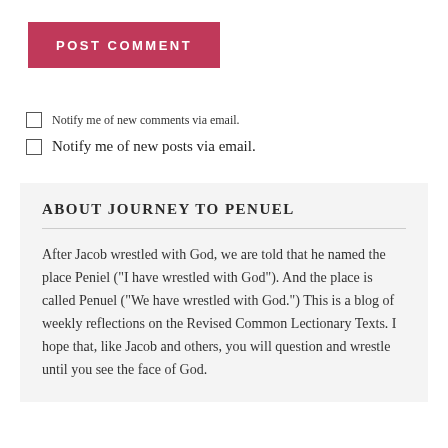POST COMMENT
Notify me of new comments via email.
Notify me of new posts via email.
ABOUT JOURNEY TO PENUEL
After Jacob wrestled with God, we are told that he named the place Peniel ("I have wrestled with God"). And the place is called Penuel ("We have wrestled with God.") This is a blog of weekly reflections on the Revised Common Lectionary Texts. I hope that, like Jacob and others, you will question and wrestle until you see the face of God.